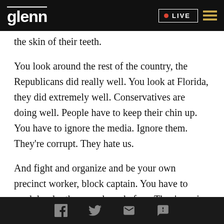glenn | LIVE
the skin of their teeth.
You look around the rest of the country, the Republicans did really well. You look at Florida, they did extremely well. Conservatives are doing well. People have to keep their chin up. You have to ignore the media. Ignore them. They're corrupt. They hate us.
And fight and organize and be your own precinct worker, block captain. You have to work harder than you have before. They're going to do everything they
Social share icons: Facebook, Twitter, Email, SMS